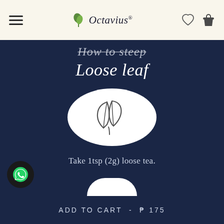Octavius®
How to steep
Loose leaf
[Figure (illustration): White circle containing a tea leaf / loose leaf icon drawn in outline style on a dark navy background]
Take 1tsp (2g) loose tea.
ADD TO CART - ₱ 175